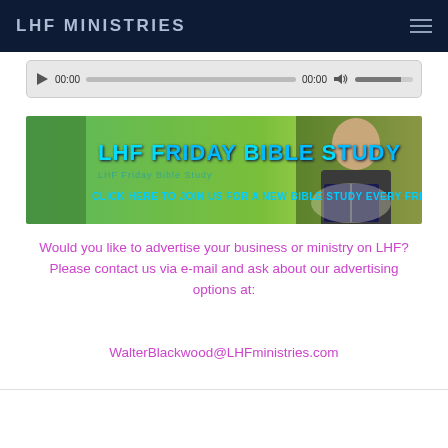LHF MINISTRIES
[Figure (screenshot): Audio player widget with play button, time displays showing 00:00 and 00:00, progress bar, volume icon, and volume slider]
[Figure (illustration): LHF Friday Bible Study banner with green background, blue stylized text reading LHF Friday Bible Study, subtitle Click here to join us for a new Bible study every Friday, and a photo of a young man reading a Bible on the right side]
Would you like to advertise your business or ministry on LHF? Please contact us via e-mail and ask about our advertising options at:
WalterBlackwood@LHFministries.com